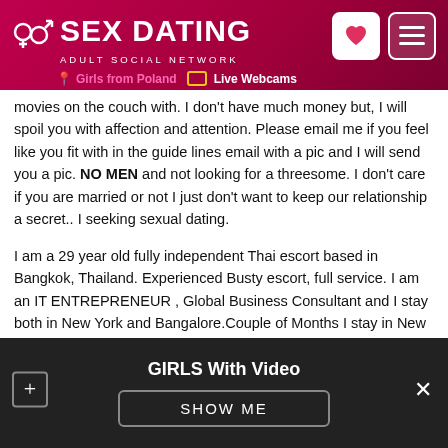[Figure (screenshot): Website header for 'Sex Dating Adult Social Network' with pink/red gradient background, gender symbols logo, heart and menu buttons, and links for Girls from Poland and Live Webcams]
movies on the couch with. I don't have much money but, I will spoil you with affection and attention. Please email me if you feel like you fit with in the guide lines email with a pic and I will send you a pic. NO MEN and not looking for a threesome. I don't care if you are married or not I just don't want to keep our relationship a secret.. I seeking sexual dating.

I am a 29 year old fully independent Thai escort based in Bangkok, Thailand. Experienced Busty escort, full service. I am an IT ENTREPRENEUR , Global Business Consultant and I stay both in New York and Bangalore.Couple of Months I stay in New York and then in Bangalore. You can WhatsApp me on my USA MOBILE NUMBER +1 917 460 6715 . Knowing me on WhatsApp will make you understand how by meeting me you
GIRLS With Video
SHOW ME